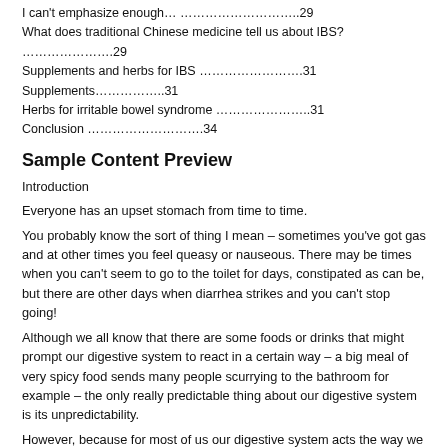I can't emphasize enough… ………………………..29
What does traditional Chinese medicine tell us about IBS? ………………….29
Supplements and herbs for IBS …………………….31
Supplements……………..31
Herbs for irritable bowel syndrome …………………..31
Conclusion ……………………….34
Sample Content Preview
Introduction
Everyone has an upset stomach from time to time.
You probably know the sort of thing I mean – sometimes you've got gas and at other times you feel queasy or nauseous. There may be times when you can't seem to go to the toilet for days, constipated as can be, but there are other days when diarrhea strikes and you can't stop going!
Although we all know that there are some foods or drinks that might prompt our digestive system to react in a certain way – a big meal of very spicy food sends many people scurrying to the bathroom for example – the only really predictable thing about our digestive system is its unpredictability.
However, because for most of us our digestive system acts the way we expect it to most of the time, we don't really give a